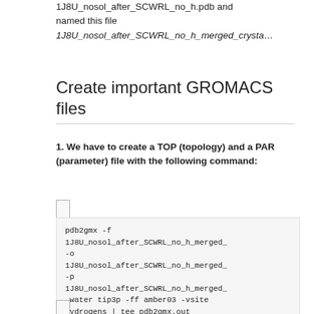1J8U_nosol_after_SCWRL_no_h.pdb and named this file 1J8U_nosol_after_SCWRL_no_h_merged_crysta…
Create important GROMACS files
1. We have to create a TOP (topology) and a PAR (parameter) file with the following command: